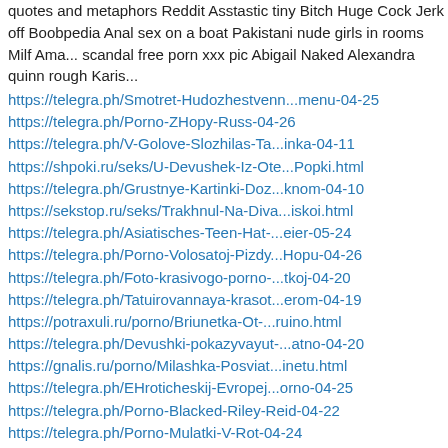quotes and metaphors Reddit Asstastic tiny Bitch Huge Cock Jerk off Boobpedia Anal sex on a boat Pakistani nude girls in rooms Milf Ama... scandal free porn xxx pic Abigail Naked Alexandra quinn rough Karis...
https://telegra.ph/Smotret-Hudozhestvenn...menu-04-25
https://telegra.ph/Porno-ZHopy-Russ-04-26
https://telegra.ph/V-Golove-Slozhilas-Ta...inka-04-11
https://shpoki.ru/seks/U-Devushek-Iz-Ote...Popki.html
https://telegra.ph/Grustnye-Kartinki-Doz...knom-04-10
https://sekstop.ru/seks/Trakhnul-Na-Diva...iskoi.html
https://telegra.ph/Asiatisches-Teen-Hat-...eier-05-24
https://telegra.ph/Porno-Volosatoj-Pizdy...Hopu-04-26
https://telegra.ph/Foto-krasivogo-porno-...tkoj-04-20
https://telegra.ph/Tatuirovannaya-krasot...erom-04-19
https://potraxuli.ru/porno/Briunetka-Ot-...ruino.html
https://telegra.ph/Devushki-pokazyvayut-...atno-04-20
https://gnalis.ru/porno/Milashka-Posviat...inetu.html
https://telegra.ph/EHroticheskij-Evropej...orno-04-25
https://telegra.ph/Porno-Blacked-Riley-Reid-04-22
https://telegra.ph/Porno-Mulatki-V-Rot-04-24
https://telegra.ph/Lenivye-Golubcy-Posha...Foto-05-17
https://telegra.ph/ZHasmin-Dzhej-Novoe-Porno-2022-04-22
https://sekstop.ru/seks/Dve-Bolelshchits...menom.html
https://telegra.ph/Besplatnoe-Russkoe-Po...iski-04-23
https://telegra.ph/Porno-Hochet-Porno-04-02